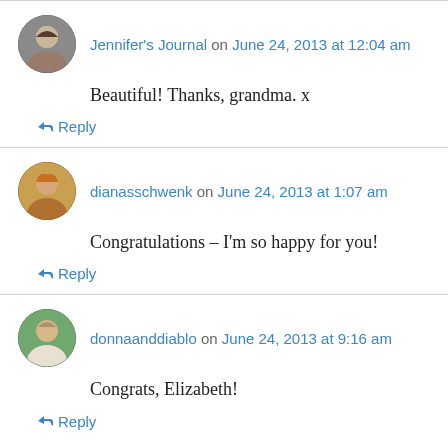Jennifer's Journal on June 24, 2013 at 12:04 am
Beautiful! Thanks, grandma. x
↳ Reply
dianasschwenk on June 24, 2013 at 1:07 am
Congratulations – I'm so happy for you!
↳ Reply
donnaanddiablo on June 24, 2013 at 9:16 am
Congrats, Elizabeth!
↳ Reply